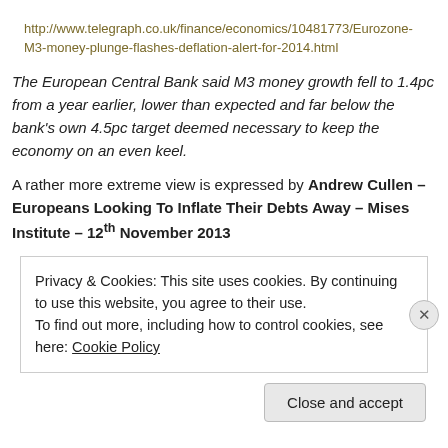http://www.telegraph.co.uk/finance/economics/10481773/Eurozone-M3-money-plunge-flashes-deflation-alert-for-2014.html
The European Central Bank said M3 money growth fell to 1.4pc from a year earlier, lower than expected and far below the bank's own 4.5pc target deemed necessary to keep the economy on an even keel.
A rather more extreme view is expressed by Andrew Cullen – Europeans Looking To Inflate Their Debts Away – Mises Institute – 12th November 2013
Privacy & Cookies: This site uses cookies. By continuing to use this website, you agree to their use.
To find out more, including how to control cookies, see here: Cookie Policy
Close and accept